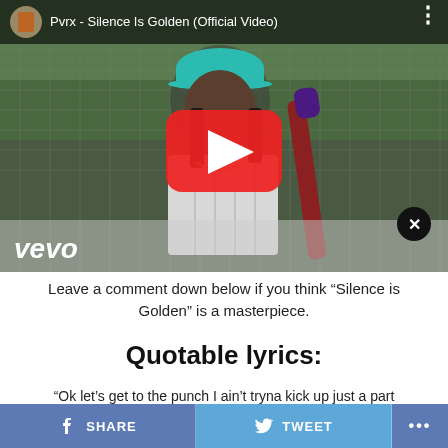[Figure (screenshot): YouTube/Vevo video thumbnail showing a person wearing a teal baseball cap, white pinstripe jersey, holding a baseball bat, standing near a chain-link fence. Overlay shows YouTube play button, Vevo logo bottom-left, close button bottom-right, and a top bar with channel avatar and title 'Pvrx - Silence Is Golden (Official Video)'.]
Leave a comment down below if you think “Silence is Golden” is a masterpiece.
Quotable lyrics:
“Ok let’s get to the punch I ain’t tryna kick up just a part
SHARE   TWEET   •••